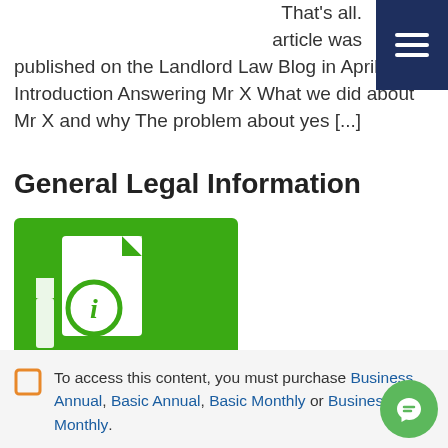That's all. article was published on the Landlord Law Blog in April 20... Introduction Answering Mr X What we did about Mr X and why The problem about yes [...]
General Legal Information
[Figure (illustration): Green square icon with a document and an information (i) symbol in a circle]
To access this content, you must purchase Business Annual, Basic Annual, Basic Monthly or Business Monthly.